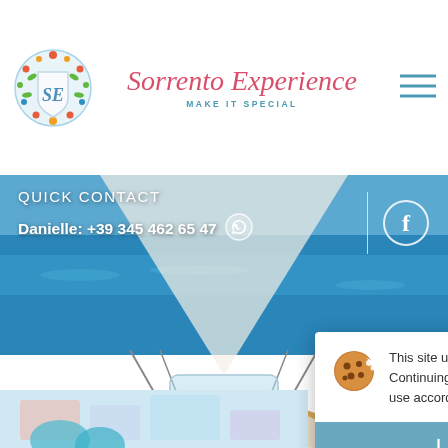[Figure (logo): Decorative crest logo with fruits, flowers, and sea creatures surrounding a shield with letters SE]
Sorrento Experience
MAKE IT SPECIAL
[Figure (other): Hamburger menu icon (three horizontal lines) in teal]
[Figure (photo): Aerial view of a luxury boat deck with white curved seating, colorful cushions, food platters, on blue ocean water with sails visible]
QUICK CONTACT
Danielle: +39 345 462 65 47
[Figure (other): WhatsApp icon circle]
[Figure (other): Facebook icon circle]
This site uses third-party cookies. Continuing on this website you accept the use according to cookie policy
I ACCEPT